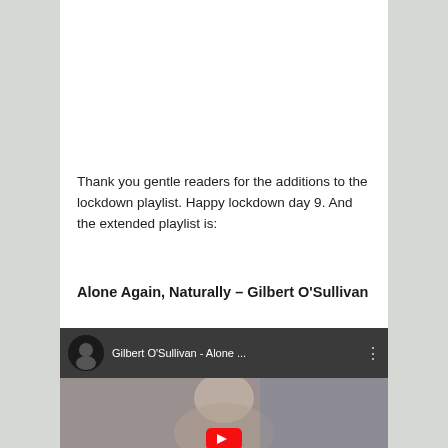[Figure (photo): Close-up photo of a CD/DVD disc showing rainbow iridescent reflections on a dark background]
Thank you gentle readers for the additions to the lockdown playlist. Happy lockdown day 9. And the extended playlist is:
Alone Again, Naturally – Gilbert O'Sullivan
[Figure (screenshot): YouTube video thumbnail showing Gilbert O'Sullivan - Alone ... with channel avatar and three-dot menu, video thumbnail shows a person's face]